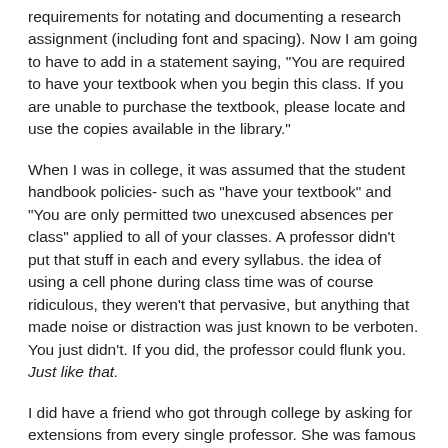requirements for notating and documenting a research assignment (including font and spacing). Now I am going to have to add in a statement saying, "You are required to have your textbook when you begin this class. If you are unable to purchase the textbook, please locate and use the copies available in the library."
When I was in college, it was assumed that the student handbook policies- such as "have your textbook" and "You are only permitted two unexcused absences per class" applied to all of your classes. A professor didn't put that stuff in each and every syllabus. the idea of using a cell phone during class time was of course ridiculous, they weren't that pervasive, but anything that made noise or distraction was just known to be verboten. You just didn't. If you did, the professor could flunk you. Just like that.
I did have a friend who got through college by asking for extensions from every single professor. She was famous for it. Even the professors knew about it, and I think they just planned accordingly when they saw her name on the roster. She was also known to be excruciatingly annoying, both to